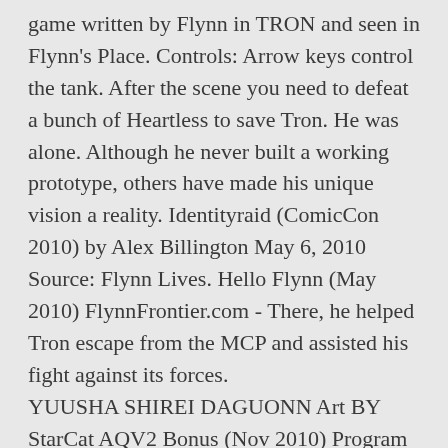game written by Flynn in TRON and seen in Flynn's Place. Controls: Arrow keys control the tank. After the scene you need to defeat a bunch of Heartless to save Tron. He was alone. Although he never built a working prototype, others have made his unique vision a reality. Identityraid (ComicCon 2010) by Alex Billington May 6, 2010 Source: Flynn Lives. Hello Flynn (May 2010) FlynnFrontier.com - There, he helped Tron escape from the MCP and assisted his fight against its forces. YUUSHA SHIREI DAGUONN Art BY StarCat AQV2 Bonus (Nov 2010) Program Glitch (Mar 2010) SPACE PARANOIDS. [2] Centipede. The game was playable online as a part of the, Two arcade cabinets are playable at the Flynn's